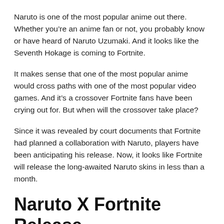Naruto is one of the most popular anime out there. Whether you’re an anime fan or not, you probably know or have heard of Naruto Uzumaki. And it looks like the Seventh Hokage is coming to Fortnite.
It makes sense that one of the most popular anime would cross paths with one of the most popular video games. And it’s a crossover Fortnite fans have been crying out for. But when will the crossover take place?
Since it was revealed by court documents that Fortnite had planned a collaboration with Naruto, players have been anticipating his release. Now, it looks like Fortnite will release the long-awaited Naruto skins in less than a month.
Naruto X Fortnite Release Date Confirmed
Epic Games has officially announced the Fortnite x Naruto crossover. In a tweet from the official Fortnite Twitter, an image states that Naruto will come to the island on November 16, 2021.